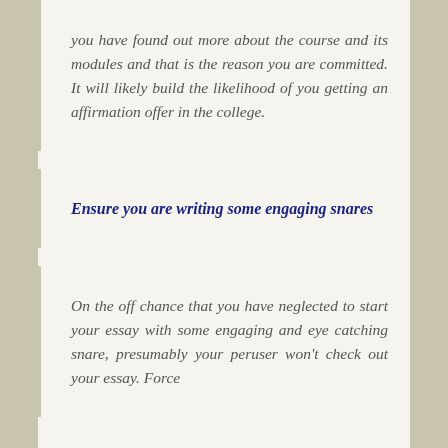you have found out more about the course and its modules and that is the reason you are committed. It will likely build the likelihood of you getting an affirmation offer in the college.
Ensure you are writing some engaging snares
On the off chance that you have neglected to start your essay with some engaging and eye catching snare, presumably your peruser won't check out your essay. Force